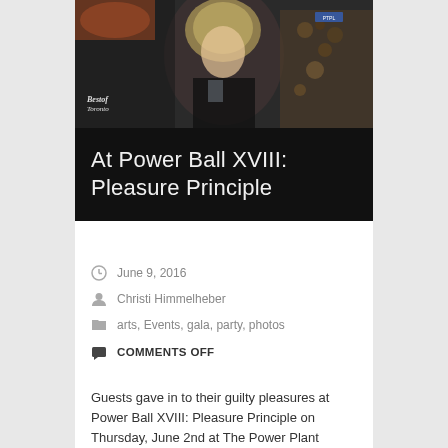[Figure (photo): Party/gala photo showing people at an event, with a woman with blonde hair laughing, wearing black. Best of Toronto logo watermark visible in lower left.]
At Power Ball XVIII: Pleasure Principle
June 9, 2016
Christi Himmelheber
arts, Events, gala, party, photos
COMMENTS OFF
Guests gave in to their guilty pleasures at Power Ball XVIII: Pleasure Principle on Thursday, June 2nd at The Power Plant